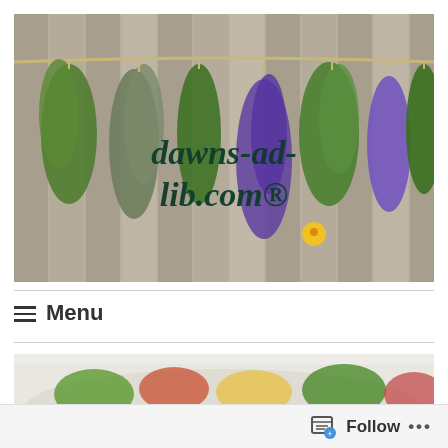[Figure (photo): Header banner photo showing bundles of fresh herbs hanging from a rope against a wooden fence background. Text overlay reads 'dawns-ad-lib.com®' in dark green script. Small emoji icons visible on the image.]
≡ Menu
[Figure (photo): Partial image of a food dish, showing what appears to be a salad or pasta with green and colorful ingredients on a plate.]
Follow ...